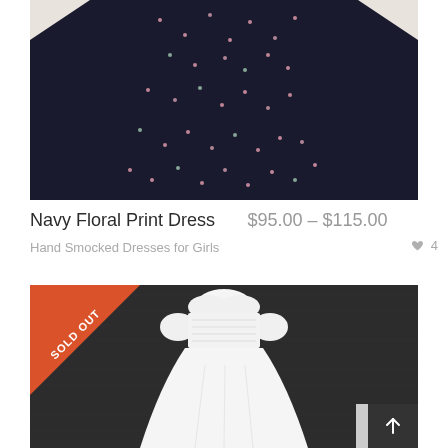[Figure (photo): Partial product photo of a navy floral print dress on a beige/cream background, showing the lower portion of the dress with dark navy fabric covered in small pink and green floral pattern.]
Navy Floral Print Dress   $95.00 – $115.00
Hand Smocked Dresses for Girls   ♦ 4
[Figure (photo): White short-sleeved girls dress with Peter Pan collar, smocked bodice with embroidery, and full skirt, photographed on a dark charcoal/black background. Orange 'SOLD OUT' diagonal ribbon banner in the top-left corner of the image.]